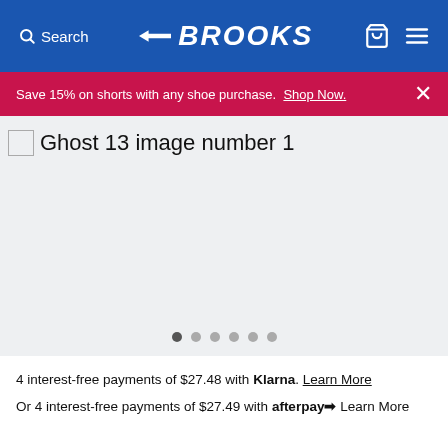Search  BROOKS  [cart] [menu]
Save 15% on shorts with any shoe purchase. Shop Now. ×
[Figure (screenshot): Ghost 13 product image placeholder area (light gray background, image not loaded)]
Ghost 13 image number 1
4 interest-free payments of $27.48 with Klarna. Learn More
Or 4 interest-free payments of $27.49 with afterpay Learn More